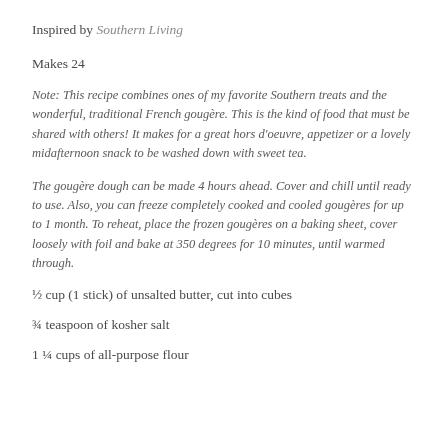Inspired by Southern Living
Makes 24
Note: This recipe combines ones of my favorite Southern treats and the wonderful, traditional French gougère. This is the kind of food that must be shared with others! It makes for a great hors d'oeuvre, appetizer or a lovely midafternoon snack to be washed down with sweet tea.
The gougère dough can be made 4 hours ahead. Cover and chill until ready to use. Also, you can freeze completely cooked and cooled gougères for up to 1 month. To reheat, place the frozen gougères on a baking sheet, cover loosely with foil and bake at 350 degrees for 10 minutes, until warmed through.
½ cup (1 stick) of unsalted butter, cut into cubes
¾ teaspoon of kosher salt
1 ¼ cups of all-purpose flour